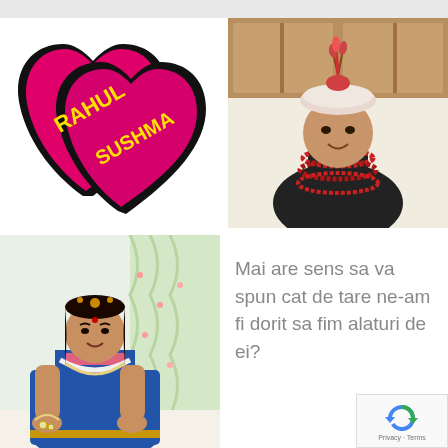[Figure (illustration): Two overlapping pink/magenta heart shapes with black outline. Left heart has 'RAHUL' in bold yellow text, right heart has 'SUSHMA' in bold yellow text.]
[Figure (photo): Photo of a young man wearing traditional Indian wedding attire including a decorative turban/sehra with feathers and beaded red necklaces, smiling at camera in a room with wooden cabinets.]
[Figure (photo): Photo of a young woman in a blue saree with gold border, wearing white floral jewelry including a necklace and hand jewelry, sitting and smiling, with a curtain background.]
Mai are sens sa va spun cat de tare ne-am fi dorit sa fim alaturi de ei?